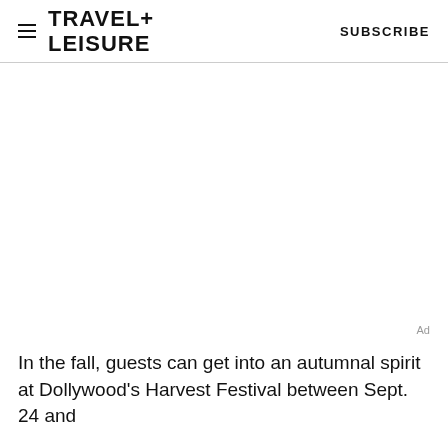TRAVEL+ LEISURE    SUBSCRIBE
[Figure (photo): Large image area (white/blank area where photo would appear) below the Travel+Leisure header]
Ad
In the fall, guests can get into an autumnal spirit at Dollywood's Harvest Festival between Sept. 24 and